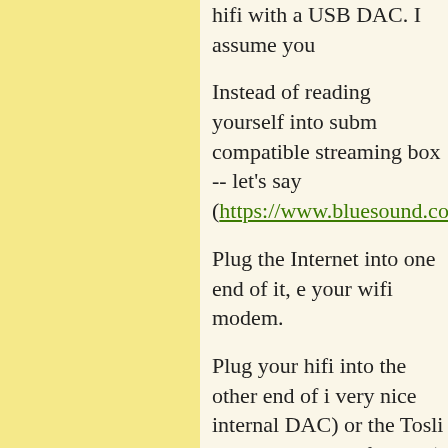hifi with a USB DAC. I assume you
Instead of reading yourself into subm compatible streaming box -- let's say (https://www.bluesound.com/produc
Plug the Internet into one end of it, e your wifi modem.
Plug your hifi into the other end of i very nice internal DAC) or the Tosli your own DAC of choice).
Install the BlueOS app on your iPad.
cheers
Arg
Posted by: Arg | Tuesday, 30 June 2020 at 09:18 PM
If you want to go all modern, then co like Sonos. I used to be a stereophile